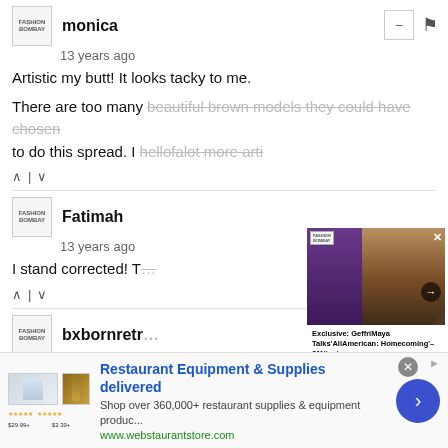monica
13 years ago
Artistic my butt! It looks tacky to me.
There are too many beautiful brown models they could have chosen to do this spread. I hellofalot more arti
Fatimah
13 years ago
I stand corrected! T
bxbornretr
13 years ago
And they said they don't want black models...I mean if you have to
[Figure (screenshot): Popup overlay showing a woman with braids against a purple background, with text 'Exclusive: GeffriMaya Talks'AllAmerican: Homecoming' – 21Ninety']
[Figure (infographic): Ad banner for Restaurant Equipment & Supplies delivered by webstaurantstore.com, with product images, blue arrow button]